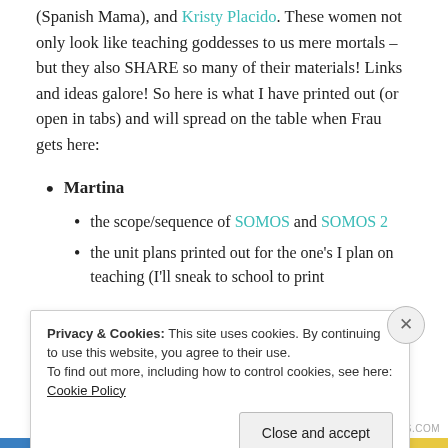Weinhold (Mrs Clases Locas), Elisabeth Alvarado (Spanish Mama), and Kristy Placido. These women not only look like teaching goddesses to us mere mortals – but they also SHARE so many of their materials! Links and ideas galore! So here is what I have printed out (or open in tabs) and will spread on the table when Frau gets here:
Martina
the scope/sequence of SOMOS and SOMOS 2
the unit plans printed out for the one's I plan on teaching (I'll sneak to school to print
Privacy & Cookies: This site uses cookies. By continuing to use this website, you agree to their use. To find out more, including how to control cookies, see here: Cookie Policy